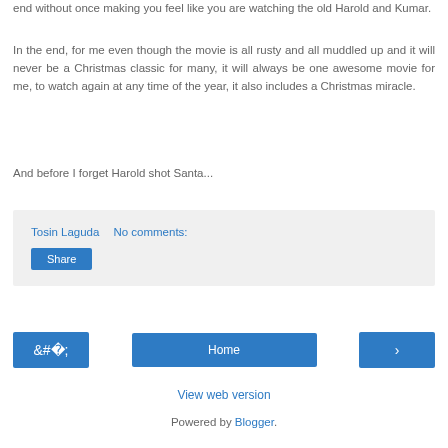end without once making you feel like you are watching the old Harold and Kumar.
In the end, for me even though the movie is all rusty and all muddled up and it will never be a Christmas classic for many, it will always be one awesome movie for me, to watch again at any time of the year, it also includes a Christmas miracle.
And before I forget Harold shot Santa...
Tosin Laguda   No comments:
Share
‹
Home
›
View web version
Powered by Blogger.